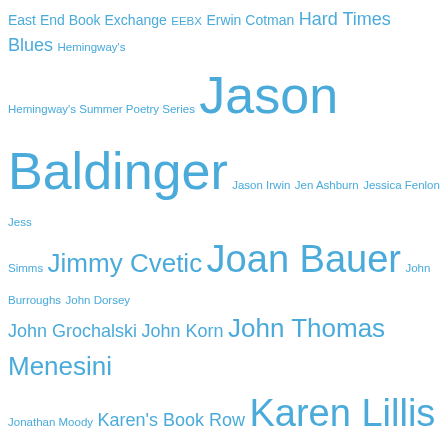East End Book Exchange EEBX Erwin Cotman Hard Times Blues Hemingway's Hemingway's Summer Poetry Series Jason Baldinger Jason Irwin Jen Ashburn Jessica Fenlon Jess Simms Jimmy Cvetic Joan Bauer John Burroughs John Dorsey John Grochalski John Korn John Thomas Menesini Jonathan Moody Karen's Book Row Karen Lillis Kayla Sargeson Kelly Andrews Kevin Finn Kris Collins Kristofer Collins Lori Jakiela Low Ghost Press Mark Spitzer Meghan Tutolo ModernFormations Modern Formations Nikki Allen Nils Balls Nine Stories Pittsburgh Paola Corso Renée Alberts Robert Isenberg Robert Walicki Rodger Kamenetz Scott Silsbe Small Press Pittsburgh Stephanie Brea Tasha Grijalva